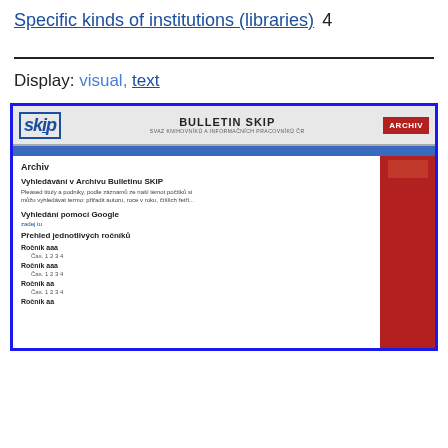Specific kinds of institutions (libraries)   4
Display: visual, text
[Figure (screenshot): Screenshot of the Bulletin SKIP website archive page, showing the SKIP logo, BULLETIN SKIP header, ARCHIV button in red, a blue navigation bar, and the main content area with sections: Archiv, Vyhledávání v Archivu Bulletinu SKIP, Vyhledání pomocí Google, Přehled jednotlivých ročníků, with multiple Ročník entries. A red sidebar is on the right.]